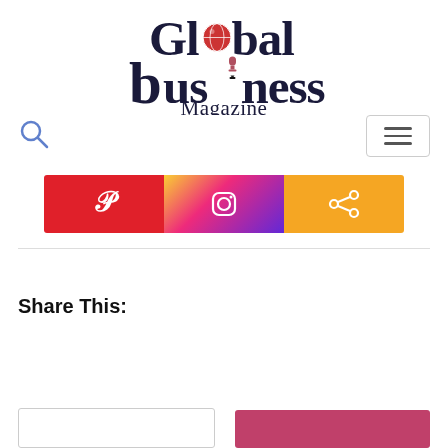[Figure (logo): Global Business Magazine logo with globe icon and trophy/award icon replacing the 'i' in business]
[Figure (other): Search magnifying glass icon (blue outline)]
[Figure (other): Hamburger menu button (three horizontal lines in a bordered box)]
[Figure (other): Pinterest red button with P icon, Instagram gradient button with Instagram icon, Share orange button with share icon]
Share This: